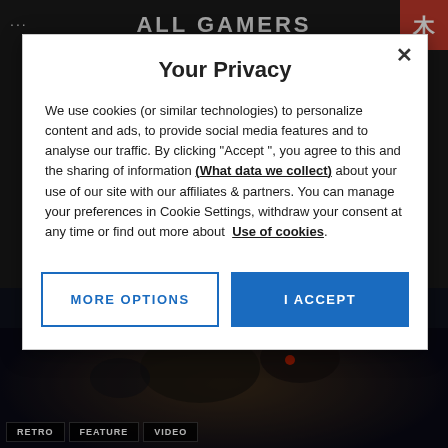ALL GAMERS
Your Privacy
We use cookies (or similar technologies) to personalize content and ads, to provide social media features and to analyse our traffic. By clicking "Accept ", you agree to this and the sharing of information (What data we collect) about your use of our site with our affiliates & partners. You can manage your preferences in Cookie Settings, withdraw your consent at any time or find out more about  Use of cookies.
MORE OPTIONS
I ACCEPT
[Figure (screenshot): Dark background screenshot of gaming website showing a dark scene, with category tags RETRO, FEATURE, VIDEO at the bottom]